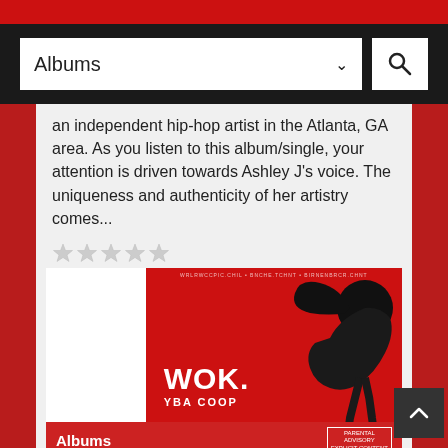Albums (search bar with dropdown)
an independent hip-hop artist in the Atlanta, GA area. As you listen to this album/single, your attention is driven towards Ashley J's voice. The uniqueness and authenticity of her artistry comes...
[Figure (screenshot): Album cover for WOK by YBA Coop - red background with silhouette figure and bold white WOK text, with 2-star rating above]
Albums
YBA Coop releases his new album WOK | @YoungCoop_